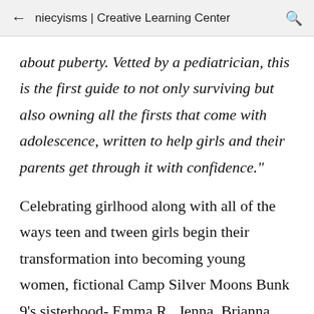niecyisms | Creative Learning Center
about puberty. Vetted by a pediatrician, this is the first guide to not only surviving but also owning all the firsts that come with adolescence, written to help girls and their parents get through it with confidence."
Celebrating girlhood along with all of the ways teen and tween girls begin their transformation into becoming young women, fictional Camp Silver Moons Bunk 9's sisterhood- Emma R., Jenna, Brianna, Grace,